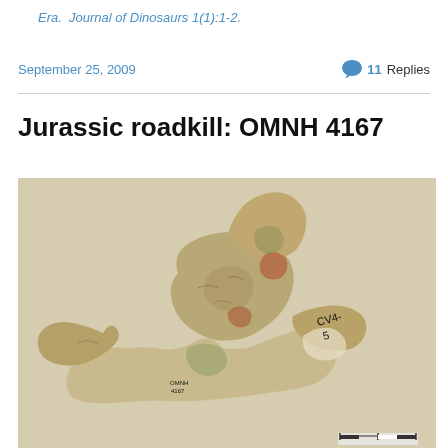Era.  Journal of Dinosaurs 1(1):1-2.
September 25, 2009
11 Replies
Jurassic roadkill: OMNH 4167
[Figure (photo): Photograph of a dinosaur vertebra fossil specimen labeled OMNH 4167, showing a partially preserved cervical vertebra with visible textures of bone and mineralization. The specimen has written labels including 'CV4-5' and 'OMNH 4167'.]